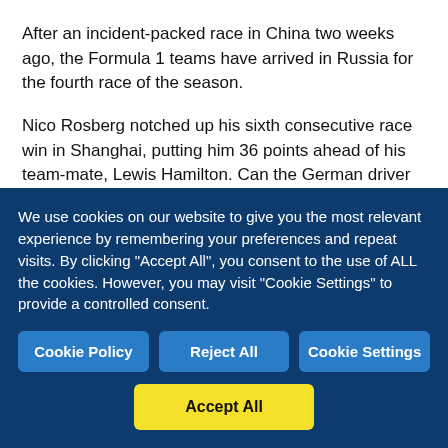After an incident-packed race in China two weeks ago, the Formula 1 teams have arrived in Russia for the fourth race of the season.
Nico Rosberg notched up his sixth consecutive race win in Shanghai, putting him 36 points ahead of his team-mate, Lewis Hamilton. Can the German driver go on to beat Sebastian Vettel's record of nine back-to-back wins, or will one of his rivals stop him in his tracks in Sochi?
Can Hamilton Claim His First Win of 2016
We use cookies on our website to give you the most relevant experience by remembering your preferences and repeat visits. By clicking "Accept All", you consent to the use of ALL the cookies. However, you may visit "Cookie Settings" to provide a controlled consent.